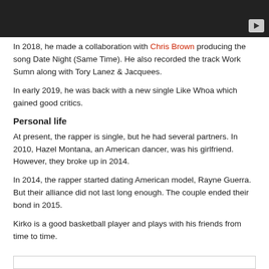[Figure (screenshot): Dark video player thumbnail with a play button in the bottom-right corner]
In 2018, he made a collaboration with Chris Brown producing the song Date Night (Same Time). He also recorded the track Work Sumn along with Tory Lanez & Jacquees.
In early 2019, he was back with a new single Like Whoa which gained good critics.
Personal life
At present, the rapper is single, but he had several partners. In 2010, Hazel Montana, an American dancer, was his girlfriend. However, they broke up in 2014.
In 2014, the rapper started dating American model, Rayne Guerra. But their alliance did not last long enough. The couple ended their bond in 2015.
Kirko is a good basketball player and plays with his friends from time to time.